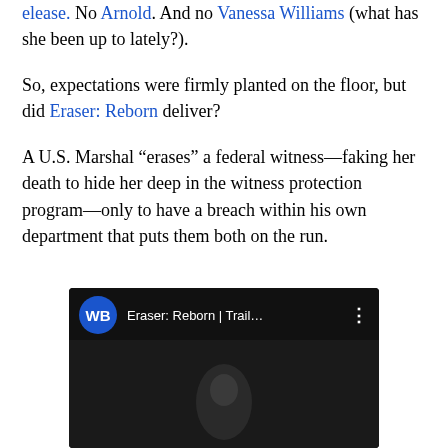release. No Arnold. And no Vanessa Williams (what has she been up to lately?).
So, expectations were firmly planted on the floor, but did Eraser: Reborn deliver?
A U.S. Marshal “erases” a federal witness—faking her death to hide her deep in the witness protection program—only to have a breach within his own department that puts them both on the run.
[Figure (screenshot): YouTube video thumbnail showing Warner Bros. logo and title 'Eraser: Reborn | Trail...' with three-dot menu icon, dark preview area below]